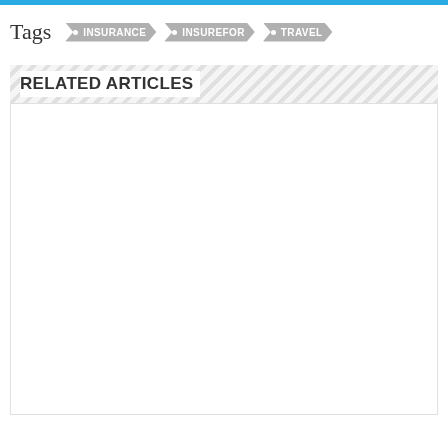Tags  INSURANCE  INSUREFOR  TRAVEL
RELATED ARTICLES